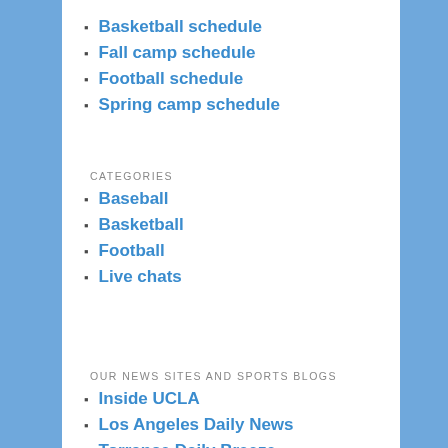Basketball schedule
Fall camp schedule
Football schedule
Spring camp schedule
CATEGORIES
Baseball
Basketball
Football
Live chats
OUR NEWS SITES AND SPORTS BLOGS
Inside UCLA
Los Angeles Daily News
Torrance Daily Breeze
Long Beach Press-Telegram
San Gabriel Valley Tribune
Pasadena Star-News
Whittier Daily News